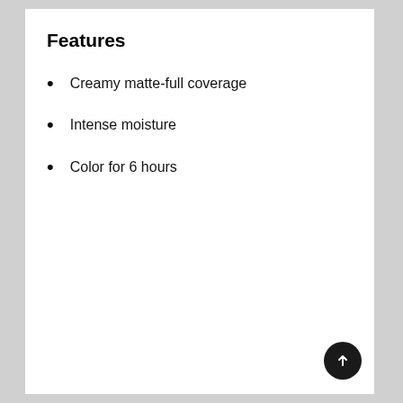Features
Creamy matte-full coverage
Intense moisture
Color for 6 hours